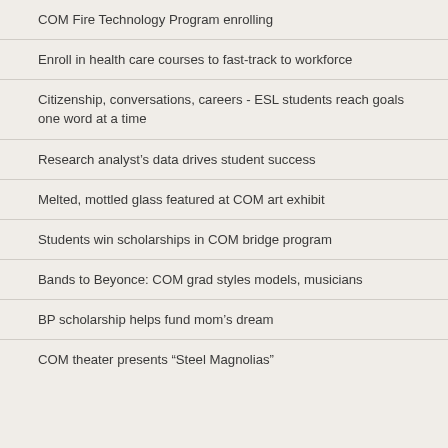COM Fire Technology Program enrolling
Enroll in health care courses to fast-track to workforce
Citizenship, conversations, careers - ESL students reach goals one word at a time
Research analyst’s data drives student success
Melted, mottled glass featured at COM art exhibit
Students win scholarships in COM bridge program
Bands to Beyonce: COM grad styles models, musicians
BP scholarship helps fund mom’s dream
COM theater presents “Steel Magnolias”